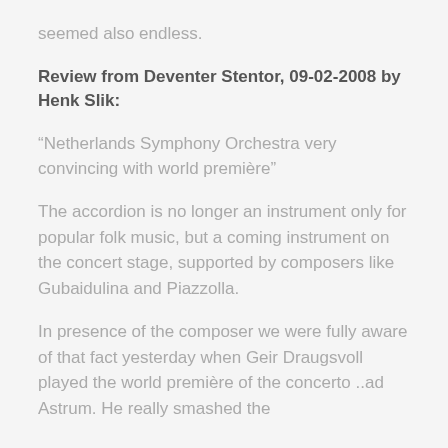seemed also endless.
Review from Deventer Stentor, 09-02-2008 by Henk Slik:
“Netherlands Symphony Orchestra very convincing with world première”
The accordion is no longer an instrument only for popular folk music, but a coming instrument on the concert stage, supported by composers like Gubaidulina and Piazzolla.
In presence of the composer we were fully aware of that fact yesterday when Geir Draugsvoll played the world première of the concerto ..ad Astrum. He really smashed the